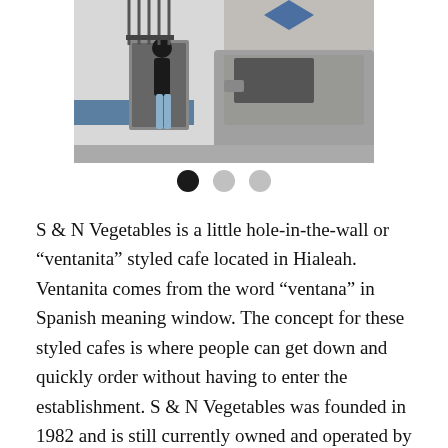[Figure (photo): Exterior street photo of S & N Vegetables cafe, showing a person standing at the window/door of the establishment, with a vehicle parked in front.]
S & N Vegetables is a little hole-in-the-wall or “ventanita” styled cafe located in Hialeah. Ventanita comes from the word “ventana” in Spanish meaning window. The concept for these styled cafes is where people can get down and quickly order without having to enter the establishment. S & N Vegetables was founded in 1982 and is still currently owned and operated by the Alvisa family. Like Adriana’s